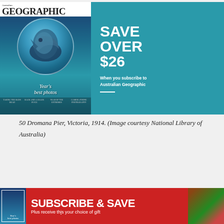[Figure (advertisement): Australian Geographic magazine subscription advertisement with teal background. Left side shows magazine cover with shark photo and text 'Year's best photos'. Right teal panel reads 'SAVE OVER $26' in large white text, followed by 'When you subscribe to Australian Geographic' with a white horizontal rule.]
50 Dromana Pier, Victoria, 1914. (Image courtesy National Library of Australia)
[Figure (advertisement): Red banner advertisement reading 'SUBSCRIBE & SAVE' in large bold white text with 'Plus receive this your choice of gift' below. Left side shows a small magazine cover image, right side shows a gift/lifestyle image.]